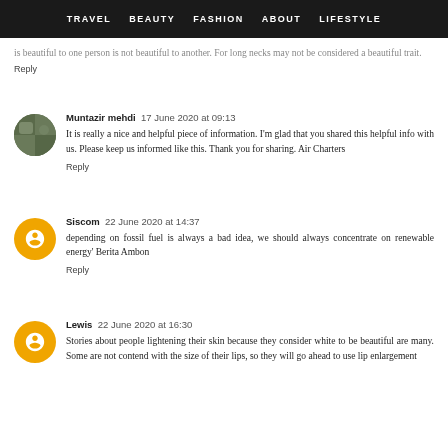TRAVEL  BEAUTY  FASHION  ABOUT  LIFESTYLE
is beautiful to one person is not beautiful to another. For long necks may not be considered a beautiful trait.
Reply
Muntazir mehdi  17 June 2020 at 09:13
It is really a nice and helpful piece of information. I'm glad that you shared this helpful info with us. Please keep us informed like this. Thank you for sharing. Air Charters
Reply
Siscom  22 June 2020 at 14:37
depending on fossil fuel is always a bad idea, we should always concentrate on renewable energy' Berita Ambon
Reply
Lewis  22 June 2020 at 16:30
Stories about people lightening their skin because they consider white to be beautiful are many. Some are not contend with the size of their lips, so they will go ahead to use lip enlargement